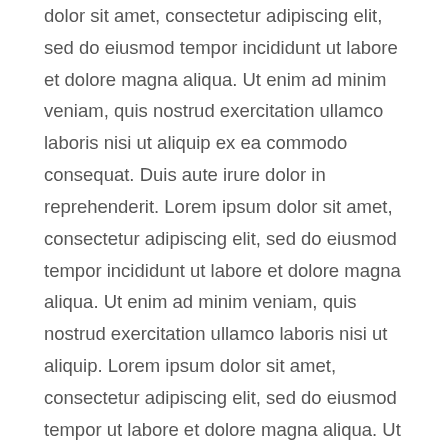dolor sit amet, consectetur adipiscing elit, sed do eiusmod tempor incididunt ut labore et dolore magna aliqua. Ut enim ad minim veniam, quis nostrud exercitation ullamco laboris nisi ut aliquip ex ea commodo consequat. Duis aute irure dolor in reprehenderit. Lorem ipsum dolor sit amet, consectetur adipiscing elit, sed do eiusmod tempor incididunt ut labore et dolore magna aliqua. Ut enim ad minim veniam, quis nostrud exercitation ullamco laboris nisi ut aliquip. Lorem ipsum dolor sit amet, consectetur adipiscing elit, sed do eiusmod tempor ut labore et dolore magna aliqua. Ut enim ad minim veniam, quis nostrud